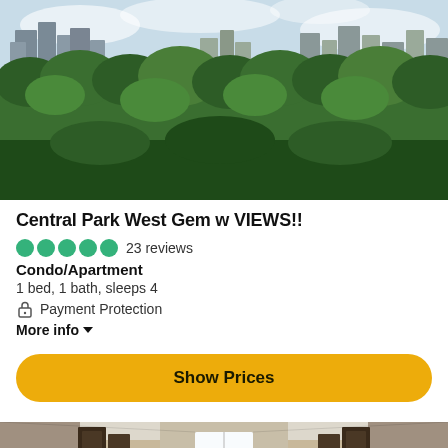[Figure (photo): Aerial view of Central Park with NYC skyline in the background, dense green trees filling the foreground]
Central Park West Gem w VIEWS!!
23 reviews
Condo/Apartment
1 bed, 1 bath, sleeps 4
Payment Protection
More info
Show Prices
[Figure (photo): Interior hallway/corridor of an apartment with dark wood doors and light coming from a window at the end]